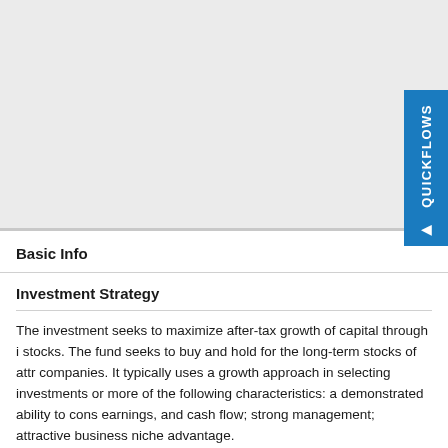[Figure (other): Gray placeholder area (upper portion of page, possibly a chart or image area)]
Basic Info
Investment Strategy
The investment seeks to maximize after-tax growth of capital through i stocks. The fund seeks to buy and hold for the long-term stocks of attr companies. It typically uses a growth approach in selecting investments or more of the following characteristics: a demonstrated ability to cons earnings, and cash flow; strong management; attractive business niche advantage.